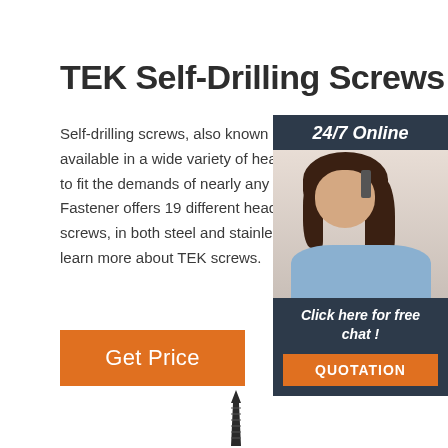TEK Self-Drilling Screws
Self-drilling screws, also known as TEK® sc... available in a wide variety of head styles and to fit the demands of nearly any application. Fastener offers 19 different head style self-d screws, in both steel and stainless steel. Con learn more about TEK screws.
[Figure (photo): Customer service representative with headset, smiling, with 24/7 Online label and sidebar panel including Click here for free chat! and QUOTATION button]
Get Price
[Figure (illustration): TEK self-drilling screw illustration at bottom of page]